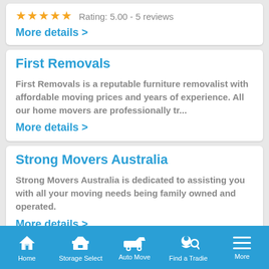★★★★★ Rating: 5.00 - 5 reviews
More details >
First Removals
First Removals is a reputable furniture removalist with affordable moving prices and years of experience. All our home movers are professionally tr...
More details >
Strong Movers Australia
Strong Movers Australia is dedicated to assisting you with all your moving needs being family owned and operated.
More details >
Home | Storage Select | Auto Move | Find a Tradie | More